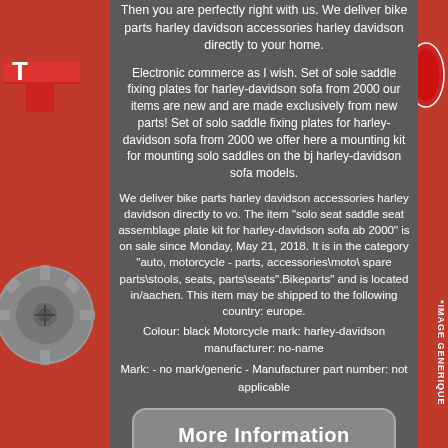Then you are perfectly right with us. We deliver bike parts harley davidson accessories harley davidson directly to your home.
Electronic commerce as I wish. Set of sole saddle fixing plates for harley-davidson sofa from 2000 our items are new and are made exclusively from new parts! Set of solo saddle fixing plates for harley-davidson sofa from 2000 we offer here a mounting kit for mounting solo saddles on the bj harley-davidson sofa models.
We deliver bike parts harley davidson accessories harley davidson directly to vo. The item "solo seat saddle seat assemblage plate kit for harley-davidson sofa ab 2000" is on sale since Monday, May 21, 2018. It is in the category "auto, motorcycle - parts, accessories\moto\ spare parts\stools, seats, parts\seats".Bikeparts" and is located in/aachen. This item may be shipped to the following country: europe.
Colour: black Motorcycle mark: harley-davidson manufacturer: no-name
Mark: - no mark/generic - Manufacturer part number: not applicable
[Figure (other): More Information button with eBay branding, rounded rectangle button on dark background]